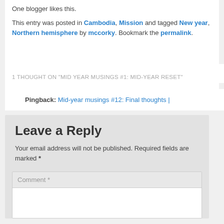One blogger likes this.
This entry was posted in Cambodia, Mission and tagged New year, Northern hemisphere by mccorky. Bookmark the permalink.
1 THOUGHT ON "MID YEAR MUSINGS #1: MID-YEAR RESET"
Pingback: Mid-year musings #12: Final thoughts |
Leave a Reply
Your email address will not be published. Required fields are marked *
Comment *